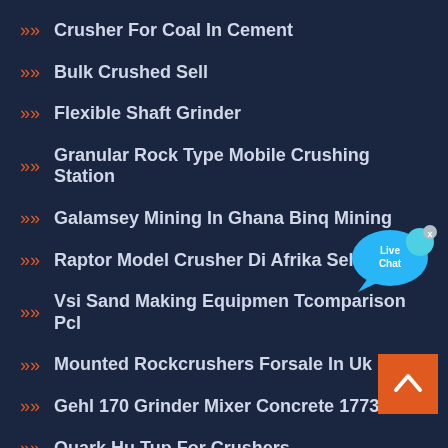Crusher For Coal In Cement
Bulk Crushed Sell
Flexible Shaft Grinder
Granular Rock Type Mobile Crushing Station
Galamsey Mining In Ghana Binq Mining
Raptor Model Crusher Di Afrika Selatan
Vsi Sand Making Equipmen Tcomparison Pcl
Mounted Rockcrushers Forsale In Uk
Gehl 170 Grinder Mixer Concrete 1773ak
Quark Hu Tup For Crushers
[Figure (illustration): Live Chat bubble icon with blue speech bubble and 'Live Chat' text, with an x close button]